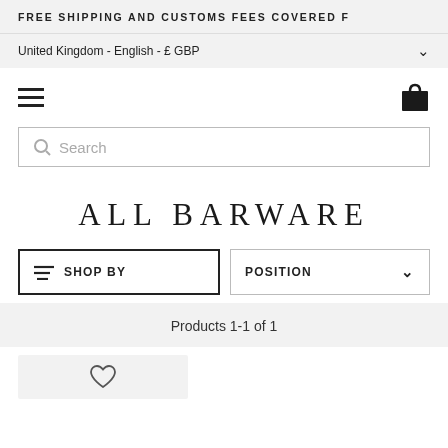FREE SHIPPING AND CUSTOMS FEES COVERED F
United Kingdom - English - £ GBP
[Figure (screenshot): Hamburger menu icon (three horizontal lines) on the left and shopping bag icon on the right]
Search
ALL BARWARE
SHOP BY
POSITION
Products 1-1 of 1